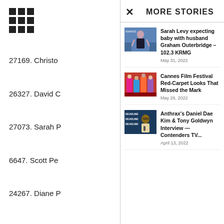[Figure (infographic): 3x3 grid icon (app menu icon) in top left]
27169. Christo
26327. David C
27073. Sarah P
6647. Scott Pe
24267. Diane P
28684. Maria P
27210. Jonatha
27011. Jeffrey Rouse, 34M
MORE STORIES
[Figure (photo): Photo of Sarah Levy in black dress at awards event]
Sarah Levy expecting baby with husband Graham Outerbridge – 102.3 KRMG
May 31, 2022
[Figure (photo): Photo of colorful red carpet looks at Cannes Film Festival]
Cannes Film Festival Red-Carpet Looks That Missed the Mark
May 26, 2022
[Figure (photo): Photo of Daniel Dae Kim at Deadline Contenders TV event]
Anthrax's Daniel Dae Kim & Tony Goldwyn Interview — Contenders TV...
April 13, 2022